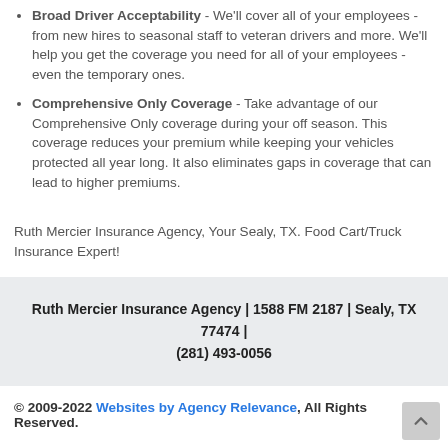Broad Driver Acceptability - We'll cover all of your employees - from new hires to seasonal staff to veteran drivers and more. We'll help you get the coverage you need for all of your employees - even the temporary ones.
Comprehensive Only Coverage - Take advantage of our Comprehensive Only coverage during your off season. This coverage reduces your premium while keeping your vehicles protected all year long. It also eliminates gaps in coverage that can lead to higher premiums.
Ruth Mercier Insurance Agency, Your Sealy, TX. Food Cart/Truck Insurance Expert!
Ruth Mercier Insurance Agency | 1588 FM 2187 | Sealy, TX 77474 | (281) 493-0056
© 2009-2022 Websites by Agency Relevance, All Rights Reserved.